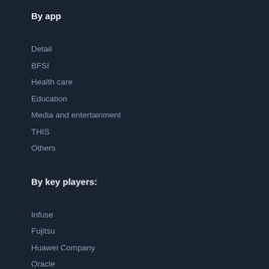By app
Detail
BFSI
Health care
Education
Media and entertainment
THIS
Others
By key players:
Infuse
Fujitsu
Huawei Company
Oracle
Amazon
Intel
Microsoft